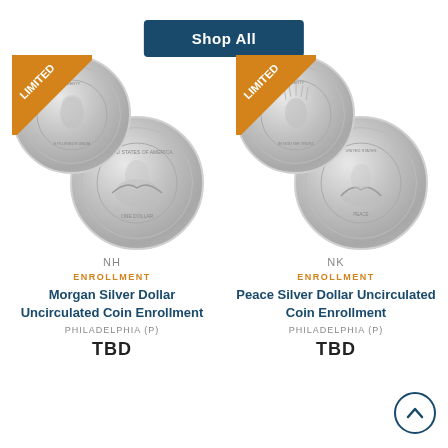Shop All
[Figure (photo): Morgan Silver Dollar coin (front and back), with LIMITED badge triangle in top-left corner]
NH
ENROLLMENT
Morgan Silver Dollar Uncirculated Coin Enrollment
PHILADELPHIA (P)
TBD
[Figure (photo): Peace Silver Dollar coin (front and back), with LIMITED badge triangle in top-left corner]
NK
ENROLLMENT
Peace Silver Dollar Uncirculated Coin Enrollment
PHILADELPHIA (P)
TBD